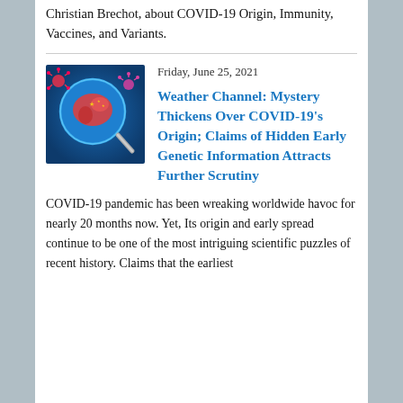Christian Brechot, about COVID-19 Origin, Immunity, Vaccines, and Variants.
Friday, June 25, 2021
[Figure (illustration): Colorful illustration showing a magnifying glass over a map of China with coronavirus particles in red and blue tones]
Weather Channel: Mystery Thickens Over COVID-19's Origin; Claims of Hidden Early Genetic Information Attracts Further Scrutiny
COVID-19 pandemic has been wreaking worldwide havoc for nearly 20 months now. Yet, Its origin and early spread continue to be one of the most intriguing scientific puzzles of recent history. Claims that the earliest